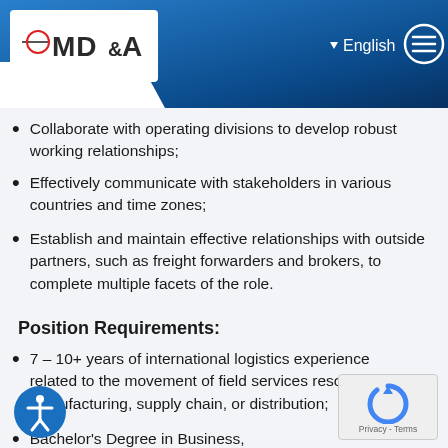[Figure (logo): MD&A company logo with red circle graphic on white background, with navigation bar (English language selector and hamburger menu) on blue gradient header]
Collaborate with operating divisions to develop robust working relationships;
Effectively communicate with stakeholders in various countries and time zones;
Establish and maintain effective relationships with outside partners, such as freight forwarders and brokers, to complete multiple facets of the role.
Position Requirements:
7 – 10+ years of international logistics experience related to the movement of field services resources, manufacturing, supply chain, or distribution;
Bachelor's Degree in Business,